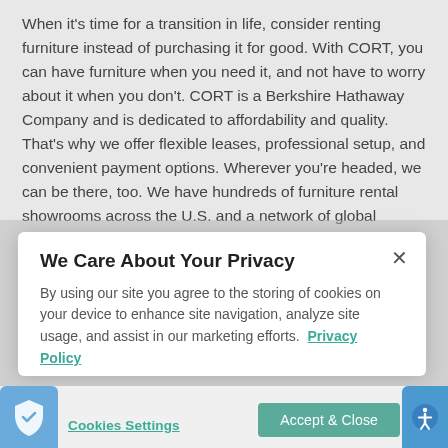When it's time for a transition in life, consider renting furniture instead of purchasing it for good. With CORT, you can have furniture when you need it, and not have to worry about it when you don't. CORT is a Berkshire Hathaway Company and is dedicated to affordability and quality. That's why we offer flexible leases, professional setup, and convenient payment options. Wherever you're headed, we can be there, too. We have hundreds of furniture rental showrooms across the U.S. and a network of global partners in 85 countries.
Live Comfortably! Rent Furniture Near
We Care About Your Privacy
By using our site you agree to the storing of cookies on your device to enhance site navigation, analyze site usage, and assist in our marketing efforts.  Privacy Policy
Cookies Settings
Accept & Close